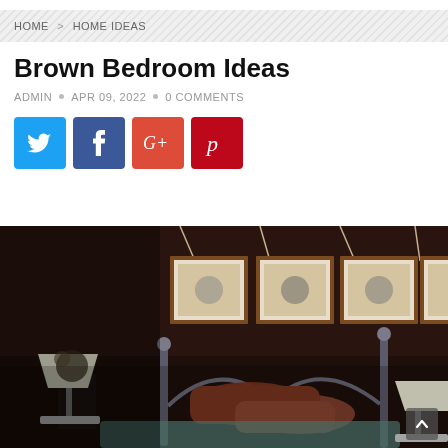HOME > HOME IDEAS
Brown Bedroom Ideas
ADMIN • APR 09, 2022 • 0 COMMENTS
[Figure (infographic): Social sharing buttons: Twitter (blue), Facebook (dark blue), Google+ (red-orange), Pinterest (dark red)]
[Figure (photo): Brown bedroom with dark brown walls, four framed pictures hanging above a metal bed headboard with brown pillows, white bedside lamps on either side]